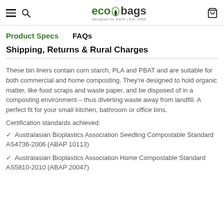ecobags — Designed for Earth | Est. 2006
Product Specs   FAQs
Shipping, Returns & Rural Charges
These bin liners contain corn starch, PLA and PBAT and are suitable for both commercial and home composting. They're designed to hold organic matter, like food scraps and waste paper, and be disposed of in a composting environment – thus diverting waste away from landfill. A perfect fit for your small kitchen, bathroom or office bins.
Certification standards achieved:
✓  Australasian Bioplastics Association Seedling Compostable Standard AS4736-2006 (ABAP 10113)
✓  Australasian Bioplastics Association Home Compostable Standard AS5810-2010 (ABAP 20047)